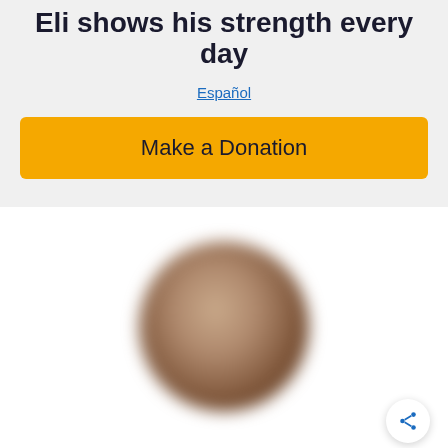Eli shows his strength every day
Español
Make a Donation
[Figure (photo): Blurred photo of a person, showing a face or head, with warm skin tones. A circular share button is visible in the lower right corner.]